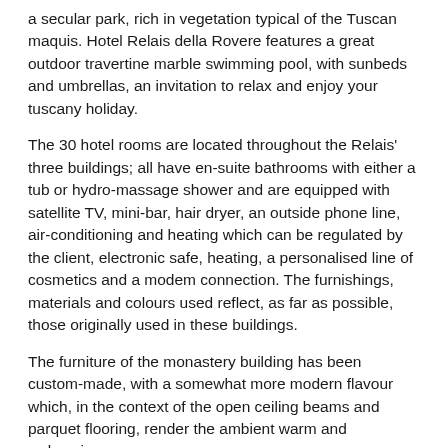a secular park, rich in vegetation typical of the Tuscan maquis. Hotel Relais della Rovere features a great outdoor travertine marble swimming pool, with sunbeds and umbrellas, an invitation to relax and enjoy your tuscany holiday.
The 30 hotel rooms are located throughout the Relais' three buildings; all have en-suite bathrooms with either a tub or hydro-massage shower and are equipped with satellite TV, mini-bar, hair dryer, an outside phone line, air-conditioning and heating which can be regulated by the client, electronic safe, heating, a personalised line of cosmetics and a modem connection. The furnishings, materials and colours used reflect, as far as possible, those originally used in these buildings.
The furniture of the monastery building has been custom-made, with a somewhat more modern flavour which, in the context of the open ceiling beams and parquet flooring, render the ambient warm and welcoming.
In the farmhouse building the wrought iron beds decorated with the original drapes blend prefectly with the terracotta floors and beamed ceilings, whilst the furnishings are original '800 Tuscan antiques.
Luxury and riches of Tuscany are certainly most evident in the villa: bathrooms in pink marble, precious tapestries, antique